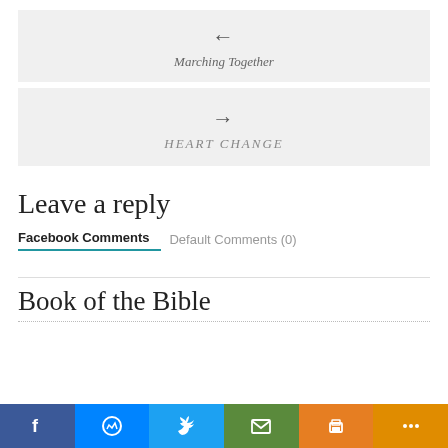[Figure (other): Navigation box with left arrow and italic label 'Marching Together']
[Figure (other): Navigation box with right arrow and uppercase italic label 'HEART CHANGE']
Leave a reply
Facebook Comments   Default Comments (0)
Book of the Bible
[Figure (other): Social share bar with Facebook, Messenger, Twitter, Email, Print, and More buttons]